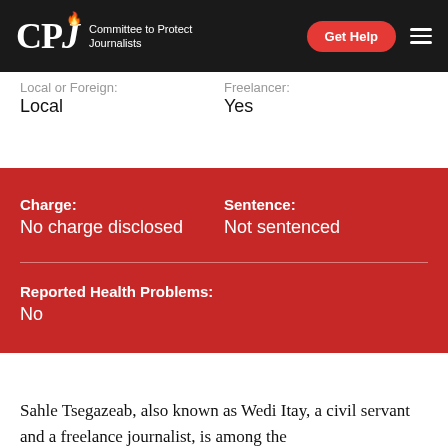CPJ — Committee to Protect Journalists | Get Help
Local or Foreign:
Local
Freelancer:
Yes
Charge:
No charge disclosed
Sentence:
Not sentenced
Reported Health Problems:
No
Sahle Tsegazeab, also known as Wedi Itay, a civil servant and a freelance journalist, is among the